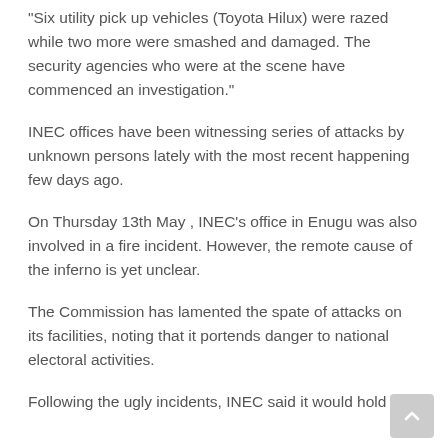“Six utility pick up vehicles (Toyota Hilux) were razed while two more were smashed and damaged. The security agencies who were at the scene have commenced an investigation.”
INEC offices have been witnessing series of attacks by unknown persons lately with the most recent happening few days ago.
On Thursday 13th May , INEC’s office in Enugu was also involved in a fire incident. However, the remote cause of the inferno is yet unclear.
The Commission has lamented the spate of attacks on its facilities, noting that it portends danger to national electoral activities.
Following the ugly incidents, INEC said it would hold an